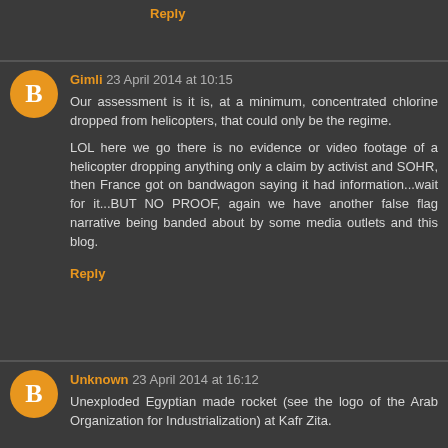Reply
Gimli 23 April 2014 at 10:15
Our assessment is it is, at a minimum, concentrated chlorine dropped from helicopters, that could only be the regime.

LOL here we go there is no evidence or video footage of a helicopter dropping anything only a claim by activist and SOHR, then France got on bandwagon saying it had information...wait for it...BUT NO PROOF, again we have another false flag narrative being banded about by some media outlets and this blog.
Reply
Unknown 23 April 2014 at 16:12
Unexploded Egyptian made rocket (see the logo of the Arab Organization for Industrialization) at Kafr Zita.